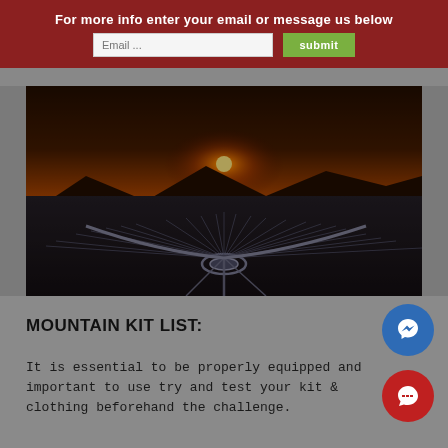For more info enter your email or message us below
[Figure (photo): Aerial photograph of a large circular sundial or land art installation on a dark hillside, with a dramatic orange sunset on the horizon behind mountain silhouettes. Radiating lines extend outward from a central circle.]
MOUNTAIN KIT LIST:
It is essential to be properly equipped and important to use try and test your kit & clothing beforehand the challenge.